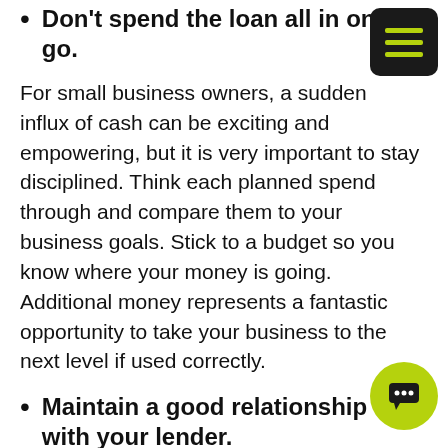Don't spend the loan all in one go.
For small business owners, a sudden influx of cash can be exciting and empowering, but it is very important to stay disciplined. Think each planned spend through and compare them to your business goals. Stick to a budget so you know where your money is going. Additional money represents a fantastic opportunity to take your business to the next level if used correctly.
Maintain a good relationship with your lender.
Keeping a dialogue with your lender and making payments on schedule (or even ahead of schedule if circumstances allow) is a good way to ensure a healthy relationship. If you need to borrow more at a later